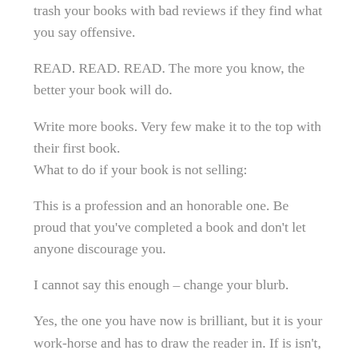trash your books with bad reviews if they find what you say offensive.
READ. READ. READ. The more you know, the better your book will do.
Write more books. Very few make it to the top with their first book.
What to do if your book is not selling:
This is a profession and an honorable one. Be proud that you've completed a book and don't let anyone discourage you.
I cannot say this enough – change your blurb.
Yes, the one you have now is brilliant, but it is your work-horse and has to draw the reader in. If is isn't, it's not really that brilliant. Change it, wait a few weeks, and if you are not selling, change it again.
Take your focus off of yourself and put it on the